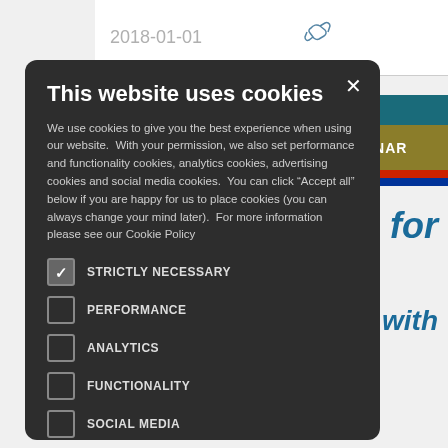2018-01-01
This website uses cookies
We use cookies to give you the best experience when using our website.  With your permission, we also set performance and functionality cookies, analytics cookies, advertising cookies and social media cookies.  You can click "Accept all" below if you are happy for us to place cookies (you can always change your mind later).  For more information please see our Cookie Policy
STRICTLY NECESSARY
PERFORMANCE
ANALYTICS
FUNCTIONALITY
SOCIAL MEDIA